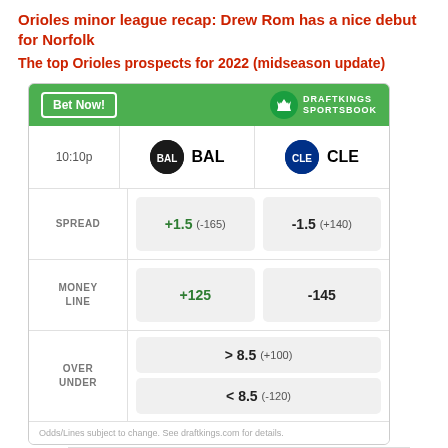Orioles minor league recap: Drew Rom has a nice debut for Norfolk
The top Orioles prospects for 2022 (midseason update)
|  | BAL | CLE |
| --- | --- | --- |
| 10:10p | BAL | CLE |
| SPREAD | +1.5 (-165) | -1.5 (+140) |
| MONEY LINE | +125 | -145 |
| OVER UNDER | > 8.5 (+100) | < 8.5 (-120) |
Odds/Lines subject to change. See draftkings.com for details.
[Figure (logo): Samsung logo advertisement]